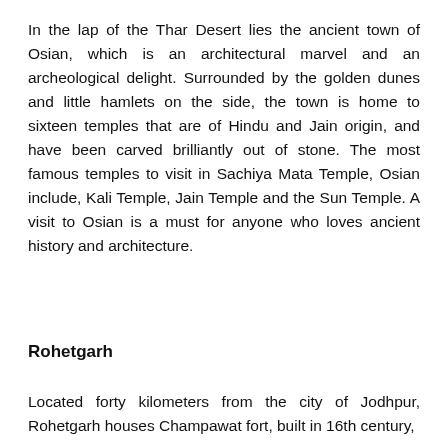In the lap of the Thar Desert lies the ancient town of Osian, which is an architectural marvel and an archeological delight. Surrounded by the golden dunes and little hamlets on the side, the town is home to sixteen temples that are of Hindu and Jain origin, and have been carved brilliantly out of stone. The most famous temples to visit in Sachiya Mata Temple, Osian include, Kali Temple, Jain Temple and the Sun Temple. A visit to Osian is a must for anyone who loves ancient history and architecture.
Rohetgarh
Located forty kilometers from the city of Jodhpur, Rohetgarh houses Champawat fort, built in 16th century,